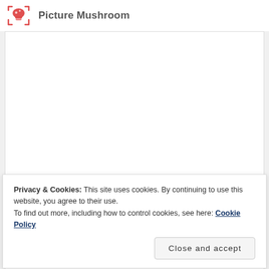Picture Mushroom
[Figure (other): White blank content area representing an image placeholder for the Picture Mushroom app]
Privacy & Cookies: This site uses cookies. By continuing to use this website, you agree to their use.
To find out more, including how to control cookies, see here: Cookie Policy
Close and accept
Instantly identify any mushrooms